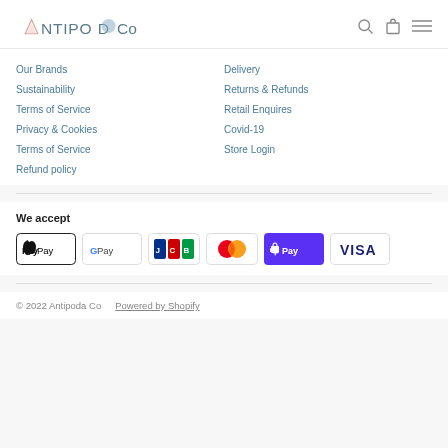Antipoda Co
Our Brands
Delivery
Sustainability
Returns & Refunds
Terms of Service
Retail Enquires
Privacy & Cookies
Covid-19
Terms of Service
Store Login
Refund policy
We accept
[Figure (logo): Payment method logos: Apple Pay, Google Pay, JCB, Mastercard, Shop Pay, Visa]
© 2022 Antipoda Co   Powered by Shopify